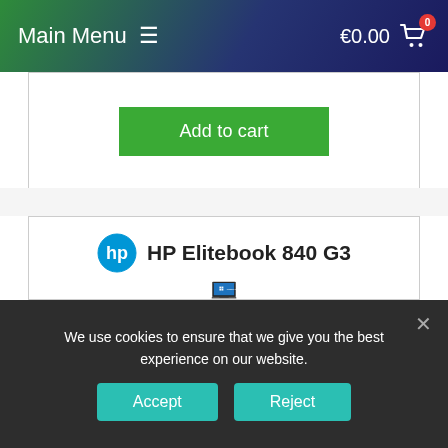Main Menu  ☰   €0.00 🛒
[Figure (screenshot): Add to cart button (green) on a white product card section]
[Figure (screenshot): HP Elitebook 840 G3 product card with HP logo, product title text, and laptop image showing Windows 10 screen]
We use cookies to ensure that we give you the best experience on our website.
Accept  Reject